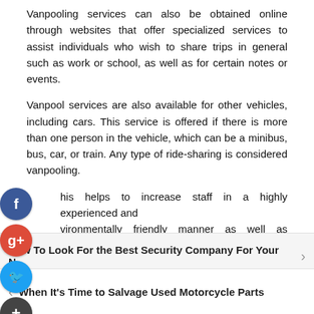Vanpooling services can also be obtained online through websites that offer specialized services to assist individuals who wish to share trips in general such as work or school, as well as for certain notes or events.
Vanpool services are also available for other vehicles, including cars. This service is offered if there is more than one person in the vehicle, which can be a minibus, bus, car, or train. Any type of ride-sharing is considered vanpooling.
This helps to increase staff in a highly experienced and environmentally friendly manner as well as providing all mobility to the public.
An added benefit that psychologists explain is that men and
How To Look For the Best Security Company For Your N...
When It's Time to Salvage Used Motorcycle Parts